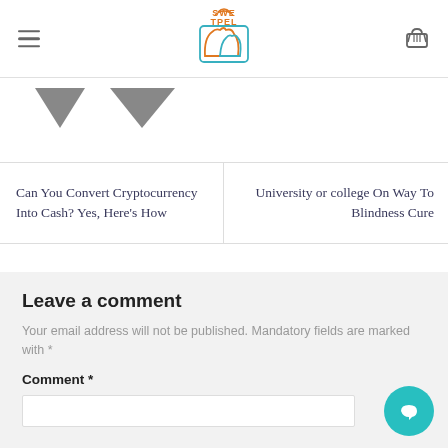SWEEtPEL — site header with hamburger menu, logo, and basket icon
[Figure (illustration): Two dark grey downward-pointing triangles/arrows on white background, partially visible]
Can You Convert Cryptocurrency Into Cash? Yes, Here's How
University or college On Way To Blindness Cure
Leave a comment
Your email address will not be published. Mandatory fields are marked with *
Comment *